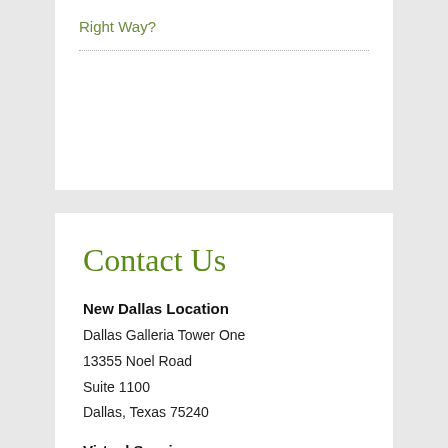Right Way?
Contact Us
New Dallas Location
Dallas Galleria Tower One
13355 Noel Road
Suite 1100
Dallas, Texas 75240
Virtual Sessions
Licensed phone and video sessions also available in Texas by appointment.